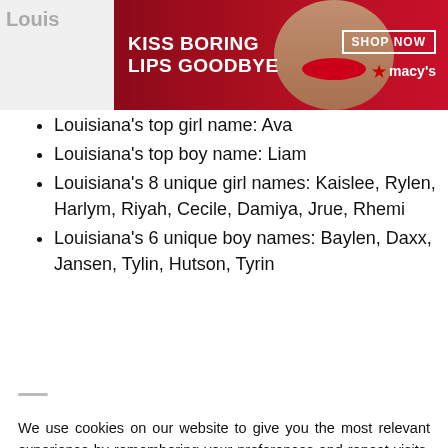[Figure (photo): Macy's advertisement banner: woman with red lips, text 'KISS BORING LIPS GOODBYE', 'SHOP NOW', Macy's star logo]
Louisiana's top girl name: Ava
Louisiana's top boy name: Liam
Louisiana's 8 unique girl names: Kaislee, Rylen, Harlym, Riyah, Cecile, Damiya, Jrue, Rhemi
Louisiana's 6 unique boy names: Baylen, Daxx, Jansen, Tylin, Hutson, Tyrin
We use cookies on our website to give you the most relevant experience by remembering your preferences and repeat visits. By clicking “Accept”, you consent to the use of ALL the cookies.
Do not sell my personal information.
[Figure (photo): MAC cosmetics advertisement: lipsticks in purple, pink, and red colors with 'SHOP NOW' button and MAC logo]